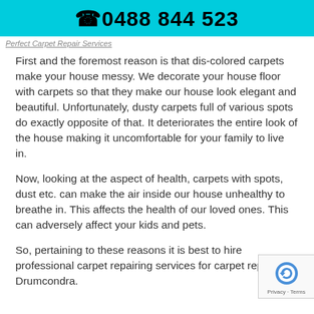☎0488 844 523
Perfect Carpet Repair Services
First and the foremost reason is that dis-colored carpets make your house messy. We decorate your house floor with carpets so that they make our house look elegant and beautiful. Unfortunately, dusty carpets full of various spots do exactly opposite of that. It deteriorates the entire look of the house making it uncomfortable for your family to live in.
Now, looking at the aspect of health, carpets with spots, dust etc. can make the air inside our house unhealthy to breathe in. This affects the health of our loved ones. This can adversely affect your kids and pets.
So, pertaining to these reasons it is best to hire professional carpet repairing services for carpet rep... Drumcondra.